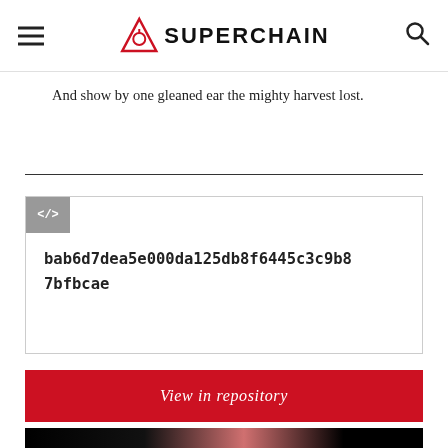SUPERCHAIN
And show by one gleaned ear the mighty harvest lost.
bab6d7dea5e000da125db8f6445c3c9b87bfbcae
View in repository
[Figure (photo): Dark background image with pink and yellow shapes, navigation arrows visible]